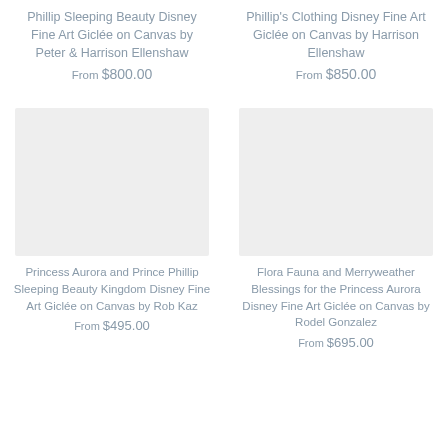Phillip Sleeping Beauty Disney Fine Art Giclée on Canvas by Peter & Harrison Ellenshaw
From $800.00
Phillip's Clothing Disney Fine Art Giclée on Canvas by Harrison Ellenshaw
From $850.00
[Figure (photo): Placeholder image box for Princess Aurora and Prince Phillip Sleeping Beauty Kingdom Disney Fine Art Giclée on Canvas by Rob Kaz]
Princess Aurora and Prince Phillip Sleeping Beauty Kingdom Disney Fine Art Giclée on Canvas by Rob Kaz
From $495.00
[Figure (photo): Placeholder image box for Flora Fauna and Merryweather Blessings for the Princess Aurora Disney Fine Art Giclée on Canvas by Rodel Gonzalez]
Flora Fauna and Merryweather Blessings for the Princess Aurora Disney Fine Art Giclée on Canvas by Rodel Gonzalez
From $695.00